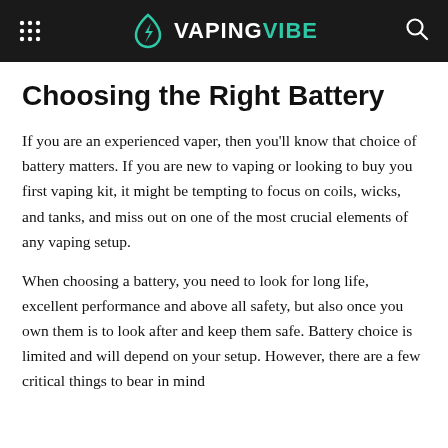VAPINGVIBE
Choosing the Right Battery
If you are an experienced vaper, then you'll know that choice of battery matters. If you are new to vaping or looking to buy you first vaping kit, it might be tempting to focus on coils, wicks, and tanks, and miss out on one of the most crucial elements of any vaping setup.
When choosing a battery, you need to look for long life, excellent performance and above all safety, but also once you own them is to look after and keep them safe. Battery choice is limited and will depend on your setup. However, there are a few critical things to bear in mind